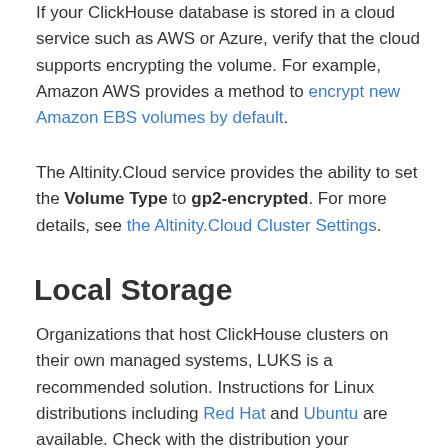If your ClickHouse database is stored in a cloud service such as AWS or Azure, verify that the cloud supports encrypting the volume. For example, Amazon AWS provides a method to encrypt new Amazon EBS volumes by default.
The Altinity.Cloud service provides the ability to set the Volume Type to gp2-encrypted. For more details, see the Altinity.Cloud Cluster Settings.
Local Storage
Organizations that host ClickHouse clusters on their own managed systems, LUKS is a recommended solution. Instructions for Linux distributions including Red Hat and Ubuntu are available. Check with the distribution your organization for instructions on how to encrypt those volumes.